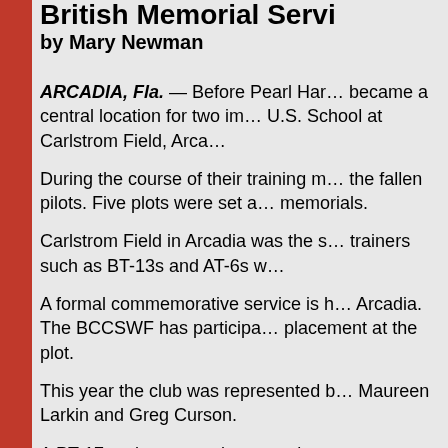British Memorial Servi…
by Mary Newman
ARCADIA, Fla. — Before Pearl Har… became a central location for two im… U.S. School at Carlstrom Field, Arca…
During the course of their training m… the fallen pilots. Five plots were set a… memorials.
Carlstrom Field in Arcadia was the s… trainers such as BT-13s and AT-6s w…
A formal commemorative service is h… Arcadia. The BCCSWF has participa… placement at the plot.
This year the club was represented b… Maureen Larkin and Greg Curson.
A PT-17 under restoration was also a…
A group of us went to the Celtic Ray…